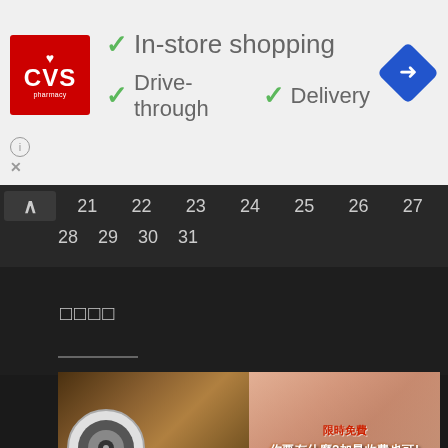[Figure (screenshot): CVS Pharmacy advertisement banner with logo, checkmarks for In-store shopping, Drive-through, and Delivery services, plus a navigation diamond icon]
[Figure (screenshot): Calendar showing dates 21-27 in first row and 28-31 in second row on dark background with up arrow button]
□□□□
[Figure (screenshot): Two video thumbnails: left shows a speaker/audio device with yellow Chinese text about YouTube to MP3, right shows a blurred promo image with Chinese text about limited-time free offer]
[Figure (screenshot): Partially visible VideoProc software video thumbnail at bottom]